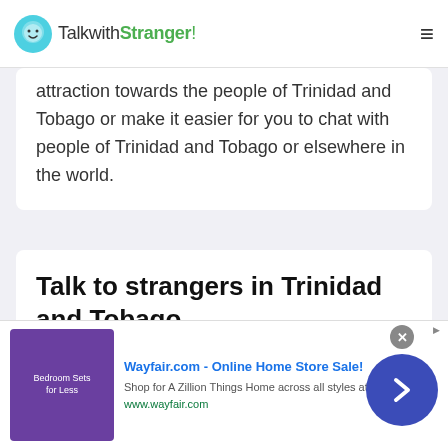TalkwithStranger!
attraction towards the people of Trinidad and Tobago or make it easier for you to chat with people of Trinidad and Tobago or elsewhere in the world.
Talk to strangers in Trinidad and Tobago
Let's talk to the world or meet new people online
The use of online chat apps and social media apps
[Figure (screenshot): Wayfair.com advertisement banner: 'Wayfair.com - Online Home Store Sale! Shop for A Zillion Things Home across all styles at Wayfair! www.wayfair.com' with a purple bedroom product image on the left, a close button (X), and an AdChoices label.]